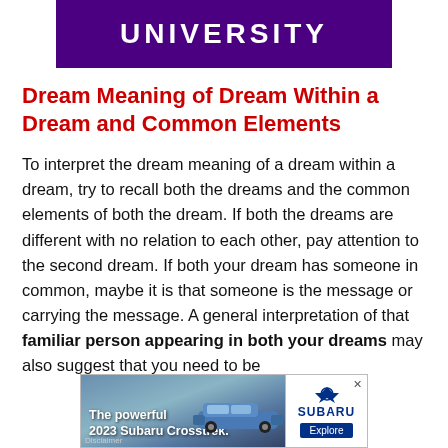UNIVERSITY
Dream Meaning of Dream Within a Dream and Common Elements
To interpret the dream meaning of a dream within a dream, try to recall both the dreams and the common elements of both the dream. If both the dreams are different with no relation to each other, pay attention to the second dream. If both your dream has someone in common, maybe it is that someone is the message or carrying the message. A general interpretation of that familiar person appearing in both your dreams may also suggest that you need to be
[Figure (photo): Advertisement banner for 2023 Subaru Crosstrek with car image on left and Subaru logo/Explore button on right. Text reads 'The powerful 2023 Subaru Crosstrek.']